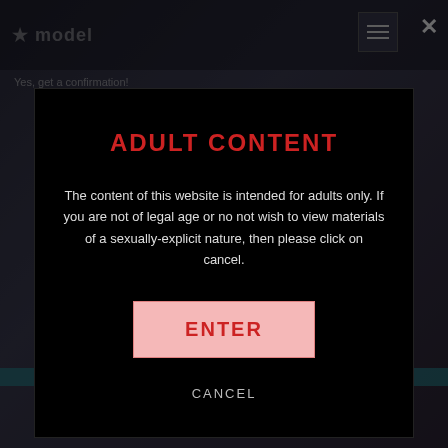[Figure (screenshot): Website background with dark blue/purple tones showing a partially visible webpage with logo, navigation menu icon, and footer links.]
ADULT CONTENT
The content of this website is intended for adults only. If you are not of legal age or no not wish to view materials of a sexually-explicit nature, then please click on cancel.
ENTER
CANCEL